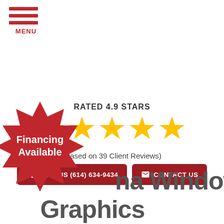MENU
RATED 4.9 STARS
[Figure (infographic): Five gold star rating icons]
(Based on 39 Client Reviews)
CALL US (614) 634-9434
CONTACT US
[Figure (infographic): Red starburst badge with text: Financing Available]
na Window Signs & Graphics